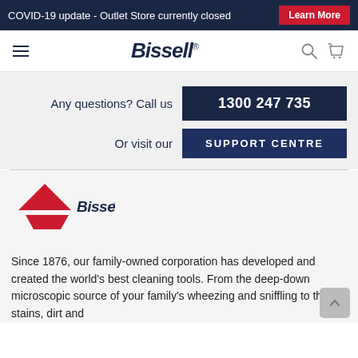COVID-19 update - Outlet Store currently closed   Learn More
[Figure (logo): Bissell navigation bar with hamburger menu, Bissell logo, search and cart icons]
Any questions? Call us   1300 247 735
Or visit our   SUPPORT CENTRE
[Figure (logo): Bissell logo with red triangle above and trapezoid below, with 'Bissell' text]
Since 1876, our family-owned corporation has developed and created the world's best cleaning tools. From the deep-down microscopic source of your family's wheezing and sniffling to the stains, dirt and